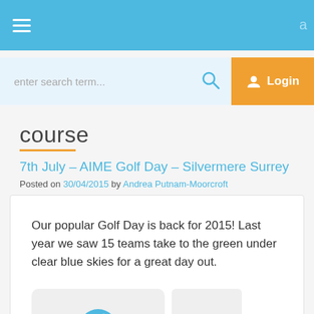navigation bar with hamburger menu
enter search term...
Login
course
7th July – AIME Golf Day – Silvermere Surrey
Posted on 30/04/2015 by Andrea Putnam-Moorcroft
Our popular Golf Day is back for 2015! Last year we saw 15 teams take to the green under clear blue skies for a great day out.
[Figure (illustration): Golf ball on tee, blue colored, inside a light grey rounded rectangle card]